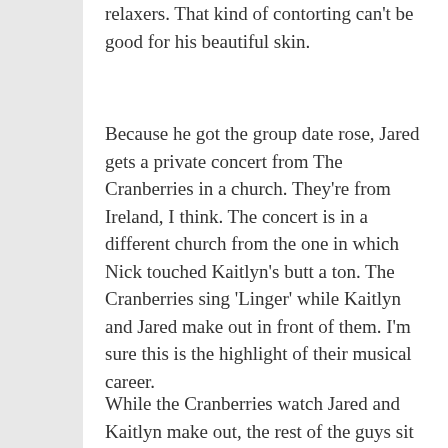relaxers. That kind of contorting can't be good for his beautiful skin.
Because he got the group date rose, Jared gets a private concert from The Cranberries in a church. They're from Ireland, I think. The concert is in a different church from the one in which Nick touched Kaitlyn's butt a ton. The Cranberries sing 'Linger' while Kaitlyn and Jared make out in front of them. I'm sure this is the highlight of their musical career.
While the Cranberries watch Jared and Kaitlyn make out, the rest of the guys sit on an Irish couch and think